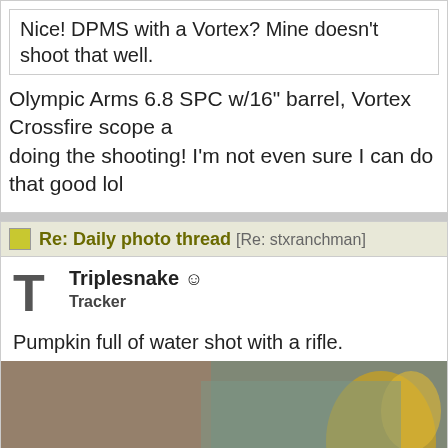Nice! DPMS with a Vortex? Mine doesn't shoot that well.
Olympic Arms 6.8 SPC w/16" barrel, Vortex Crossfire scope and doing the shooting! I'm not even sure I can do that good lol
Re: Daily photo thread [Re: stxranchman]
Triplesnake ☺ Tracker
Pumpkin full of water shot with a rifle.
[Figure (photo): Photo of a pumpkin full of water being shot with a rifle, showing explosion/splatter effect outdoors. Yellow/orange pieces visible on right side.]